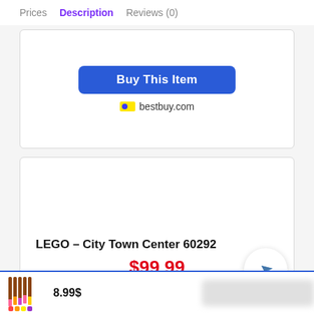Prices  Description  Reviews (0)
[Figure (screenshot): Buy This Item button for bestbuy.com]
bestbuy.com
[Figure (screenshot): Product card for LEGO - City Town Center 60292 priced at $99.99]
LEGO – City Town Center 60292
$99.99
8.99$